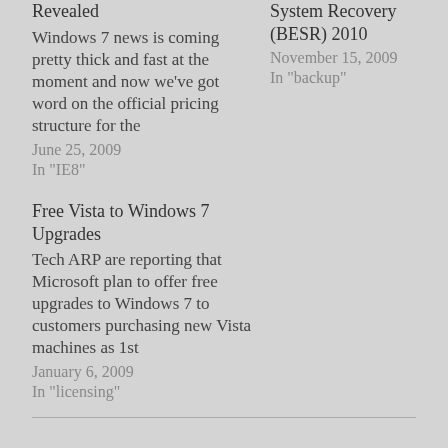Revealed
Windows 7 news is coming pretty thick and fast at the moment and now we've got word on the official pricing structure for the
June 25, 2009
In "IE8"
System Recovery (BESR)
2010
November 15, 2009
In "backup"
Free Vista to Windows 7 Upgrades
Tech ARP are reporting that Microsoft plan to offer free upgrades to Windows 7 to customers purchasing new Vista machines as 1st
January 6, 2009
In "licensing"